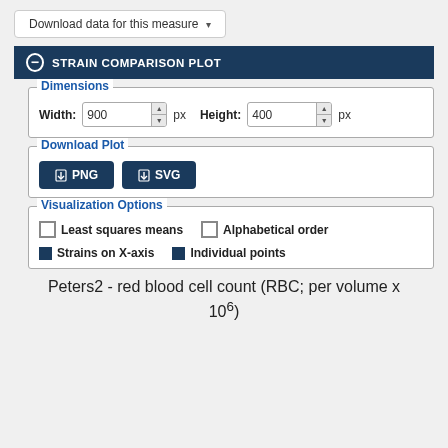Download data for this measure ▾
STRAIN COMPARISON PLOT
Dimensions
Width: 900 px    Height: 400 px
Download Plot
PNG  SVG
Visualization Options
Least squares means  Alphabetical order
Strains on X-axis  Individual points
Peters2 - red blood cell count (RBC; per volume x 10⁶)